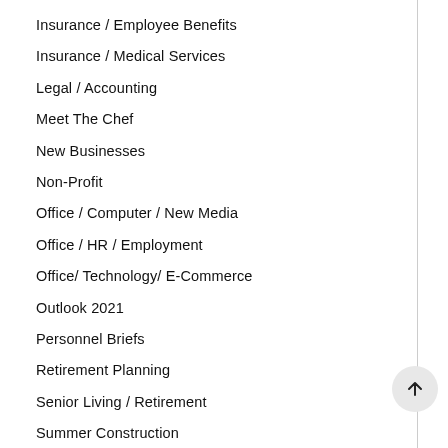Insurance / Employee Benefits
Insurance / Medical Services
Legal / Accounting
Meet The Chef
New Businesses
Non-Profit
Office / Computer / New Media
Office / HR / Employment
Office/ Technology/ E-Commerce
Outlook 2021
Personnel Briefs
Retirement Planning
Senior Living / Retirement
Summer Construction
Uncategorized
Wellness